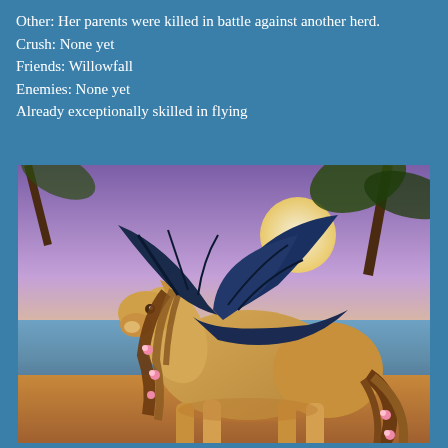Other: Her parents were killed in battle against another herd.
Crush: None yet
Friends: Willowfall
Enemies: None yet
Already exceptionally skilled in flying
[Figure (illustration): Digital illustration of a winged horse (pegasus) with a tan/buckskin body, long brown mane and tail decorated with pink flowers, and large dark navy-blue wings. The horse is depicted in a walking pose on a beach at sunset with palm trees and ocean in the background.]